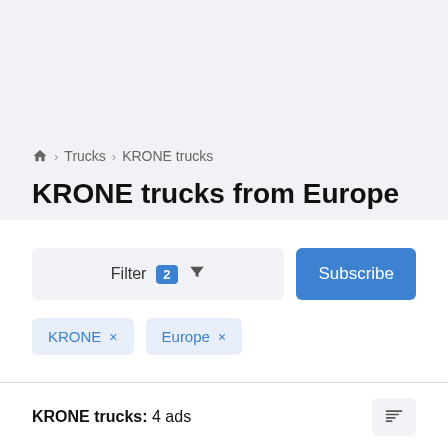🏠 > Trucks > KRONE trucks
KRONE trucks from Europe
Filter 2 ▼  Subscribe
KRONE ×    Europe ×
KRONE trucks: 4 ads